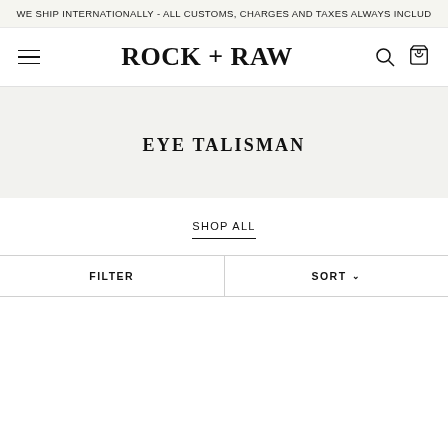WE SHIP INTERNATIONALLY - ALL CUSTOMS, CHARGES AND TAXES ALWAYS INCLUD
ROCK + RAW
EYE TALISMAN
SHOP ALL
FILTER
SORT